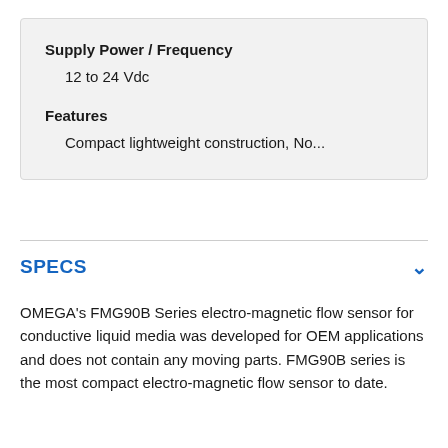Supply Power / Frequency
12 to 24 Vdc
Features
Compact lightweight construction, No...
SPECS
OMEGA's FMG90B Series electro-magnetic flow sensor for conductive liquid media was developed for OEM applications and does not contain any moving parts. FMG90B series is the most compact electro-magnetic flow sensor to date.